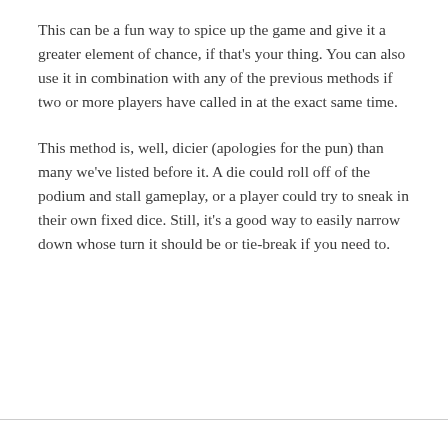This can be a fun way to spice up the game and give it a greater element of chance, if that's your thing. You can also use it in combination with any of the previous methods if two or more players have called in at the exact same time.
This method is, well, dicier (apologies for the pun) than many we've listed before it. A die could roll off of the podium and stall gameplay, or a player could try to sneak in their own fixed dice. Still, it's a good way to easily narrow down whose turn it should be or tie-break if you need to.